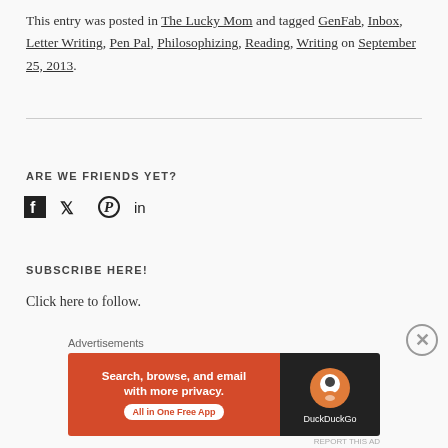This entry was posted in The Lucky Mom and tagged GenFab, Inbox, Letter Writing, Pen Pal, Philosophizing, Reading, Writing on September 25, 2013.
ARE WE FRIENDS YET?
[Figure (infographic): Social media icons: Facebook, Twitter, Pinterest, LinkedIn]
SUBSCRIBE HERE!
Click here to follow.
[Figure (infographic): DuckDuckGo advertisement banner: Search, browse, and email with more privacy. All in One Free App. DuckDuckGo logo on dark background.]
Advertisements